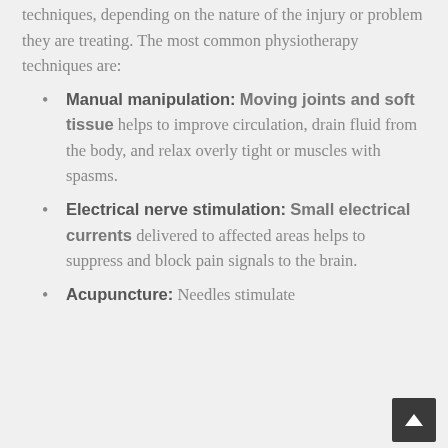techniques, depending on the nature of the injury or problem they are treating. The most common physiotherapy techniques are:
Manual manipulation: Moving joints and soft tissue helps to improve circulation, drain fluid from the body, and relax overly tight or muscles with spasms.
Electrical nerve stimulation: Small electrical currents delivered to affected areas helps to suppress and block pain signals to the brain.
Acupuncture: Needles stimulate